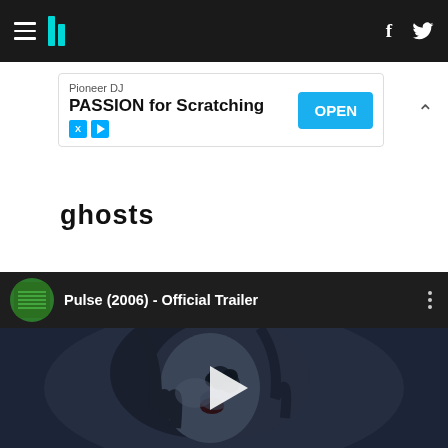HuffPost navigation bar with hamburger menu, logo, Facebook and Twitter icons
[Figure (screenshot): Advertisement banner: Pioneer DJ - PASSION for Scratching - OPEN button]
ghosts
[Figure (screenshot): YouTube video embed: Pulse (2006) - Official Trailer with play button overlay showing a dark horror scene with a woman's face]
Pulse (2006) - Official Trailer